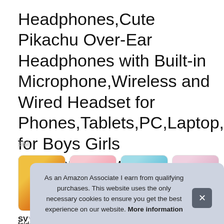Headphones,Cute Pikachu Over-Ear Headphones with Built-in Microphone,Wireless and Wired Headset for Phones,Tablets,PC,Laptop, for Boys Girls Toddler,Yellow
#ad
[Figure (photo): Four product thumbnail images in a row showing Pikachu-themed yellow headphones from different angles: front view on pink background, overhead/loop view on pink background, close-up of ear cup with lightning bolt on blue background, and a girl wearing the yellow headphones.]
SVY
foldable design can make it perfect for any backpack and take
As an Amazon Associate I earn from qualifying purchases. This website uses the only necessary cookies to ensure you get the best experience on our website. More information